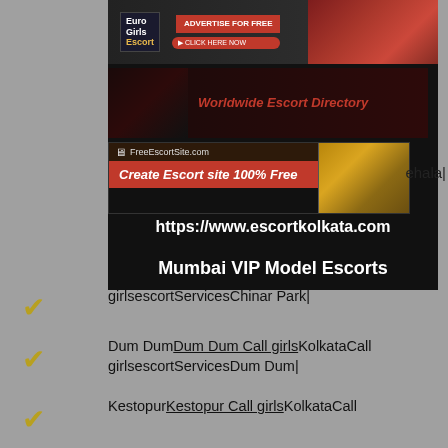[Figure (screenshot): Advertisement banner area with dark background containing three ad banners: Euro Girls Escort advertise for free, Worldwide Escort Directory, and FreeEscortSite.com Create Escort site 100% Free. Below the ads are two lines of white text: https://www.escortkolkata.com and Mumbai VIP Model Escorts]
girlsescortServicesChinar Park|
Dum DumDum Dum Call girlsKolkataCall girlsescortServicesDum Dum|
KestopurKestopur Call girlsKolkataCall girlsescortServicesKestopur|
New TownNew Town Call girlsKolkataCall girlsescortServicesNew Town|
Park StreetPark Street Call girlsKolkataCall